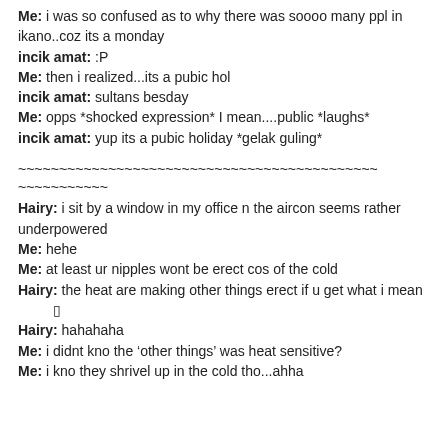Me: i was so confused as to why there was soooo many ppl in ikano..coz its a monday
incik amat: :P
Me: then i realized...its a pubic hol
incik amat: sultans besday
Me: opps *shocked expression* I mean....public *laughs*
incik amat: yup its a pubic holiday *gelak guling*
~~~~~~~~~~~~~~~~~~~~~~~~~~~~~~~~~~~~~~~~~~~~~~~~~~~~~~~~~~~
Hairy: i sit by a window in my office n the aircon seems rather underpowered
Me: hehe
Me: at least ur nipples wont be erect cos of the cold
Hairy: the heat are making other things erect if u get what i mean
Hairy: hahahaha
Me: i didnt kno the ‘other things’ was heat sensitive?
Me: i kno they shrivel up in the cold tho...ahha